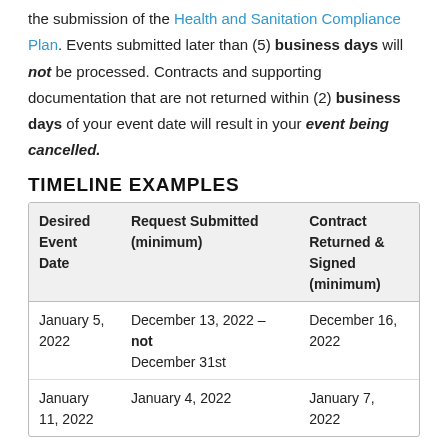the submission of the Health and Sanitation Compliance Plan. Events submitted later than (5) business days will not be processed. Contracts and supporting documentation that are not returned within (2) business days of your event date will result in your event being cancelled.
TIMELINE EXAMPLES
| Desired Event Date | Request Submitted (minimum) | Contract Returned & Signed (minimum) |
| --- | --- | --- |
| January 5, 2022 | December 13, 2022 – not December 31st | December 16, 2022 |
| January 11, 2022 | January 4, 2022 | January 7, 2022 |